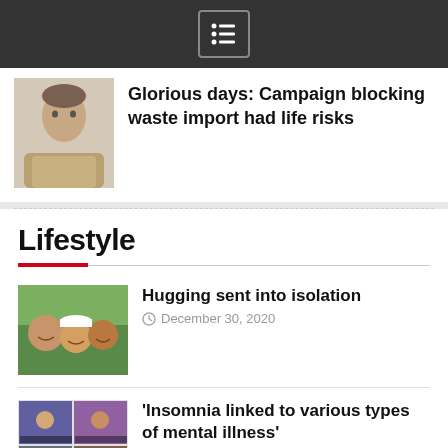Navigation menu icon
[Figure (photo): Portrait photo of a man]
Glorious days: Campaign blocking waste import had life risks
Lifestyle
[Figure (photo): Photo of smiling children]
Hugging sent into isolation
December 30, 2020
[Figure (photo): Photo of video call participants]
'Insomnia linked to various types of mental illness'
November 30, 2020